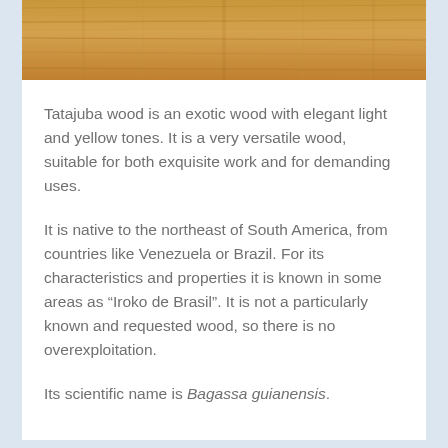[Figure (photo): Close-up photograph of Tatajuba wood surface showing light golden-yellow wood grain texture]
Tatajuba wood is an exotic wood with elegant light and yellow tones. It is a very versatile wood, suitable for both exquisite work and for demanding uses.
It is native to the northeast of South America, from countries like Venezuela or Brazil. For its characteristics and properties it is known in some areas as “Iroko de Brasil”. It is not a particularly known and requested wood, so there is no overexploitation.
Its scientific name is Bagassa guianensis.